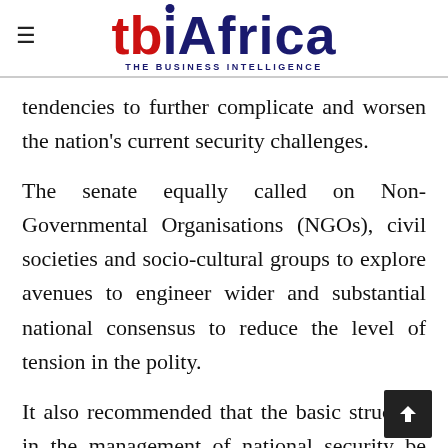tbi Africa — THE BUSINESS INTELLIGENCE
tendencies to further complicate and worsen the nation's current security challenges.
The senate equally called on Non-Governmental Organisations (NGOs), civil societies and socio-cultural groups to explore avenues to engineer wider and substantial national consensus to reduce the level of tension in the polity.
It also recommended that the basic structure in the management of national security be revisited to address weaknesses